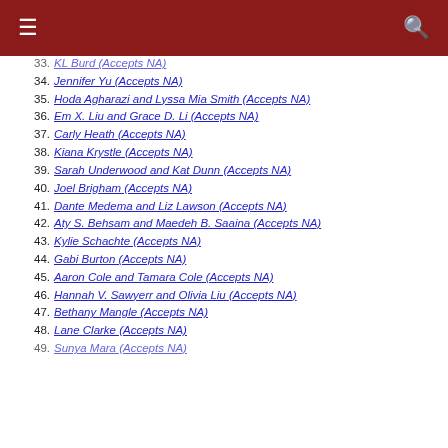Navigation header bar with menu and search icons
33. KL Burd (Accepts NA)
34. Jennifer Yu (Accepts NA)
35. Hoda Agharazi and Lyssa Mia Smith (Accepts NA)
36. Em X. Liu and Grace D. Li (Accepts NA)
37. Carly Heath (Accepts NA)
38. Kiana Krystle (Accepts NA)
39. Sarah Underwood and Kat Dunn (Accepts NA)
40. Joel Brigham (Accepts NA)
41. Dante Medema and Liz Lawson (Accepts NA)
42. Aty S. Behsam and Maedeh B. Saaina (Accepts NA)
43. Kylie Schachte (Accepts NA)
44. Gabi Burton (Accepts NA)
45. Aaron Cole and Tamara Cole (Accepts NA)
46. Hannah V. Sawyerr and Olivia Liu (Accepts NA)
47. Bethany Mangle (Accepts NA)
48. Lane Clarke (Accepts NA)
49. Sunya Mara (Accepts NA)